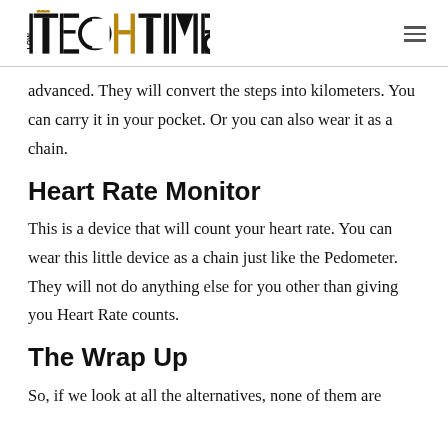LOW TECH TIMES
advanced. They will convert the steps into kilometers. You can carry it in your pocket. Or you can also wear it as a chain.
Heart Rate Monitor
This is a device that will count your heart rate. You can wear this little device as a chain just like the Pedometer. They will not do anything else for you other than giving you Heart Rate counts.
The Wrap Up
So, if we look at all the alternatives, none of them are